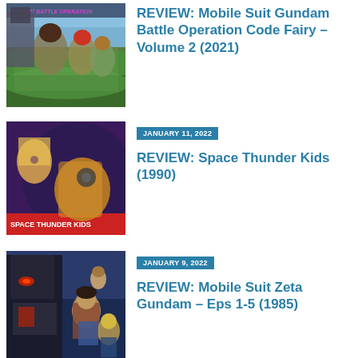[Figure (illustration): Anime cover art for Mobile Suit Gundam Battle Operation Code Fairy Volume 2, showing female anime characters in military uniforms against green background]
REVIEW: Mobile Suit Gundam Battle Operation Code Fairy – Volume 2 (2021)
[Figure (illustration): Anime cover art for Space Thunder Kids (1990), showing anime characters including a blonde woman and mechanical/robot figures against purple and dark background]
JANUARY 11, 2022
REVIEW: Space Thunder Kids (1990)
[Figure (illustration): Anime cover art for Mobile Suit Zeta Gundam, showing a large dark robot/mecha and several anime human characters against blue background]
JANUARY 9, 2022
REVIEW: Mobile Suit Zeta Gundam – Eps 1-5 (1985)